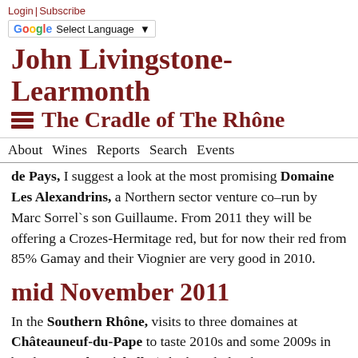Login | Subscribe
G Select Language ▼
John Livingstone-Learmonth
The Cradle of The Rhône
About  Wines  Reports  Search  Events
de Pays, I suggest a look at the most promising Domaine Les Alexandrins, a Northern sector venture co–run by Marc Sorrel`s son Guillaume. From 2011 they will be offering a Crozes-Hermitage red, but for now their red from 85% Gamay and their Viognier are very good in 2010.
mid November 2011
In the Southern Rhône, visits to three domaines at Châteauneuf-du-Pape to taste 2010s and some 2009s in bottle: Font de Michelle (which includes their very promising Gonnet Selection range, eg Ventoux and Gigondas), Vieux Télégraphe (which includes